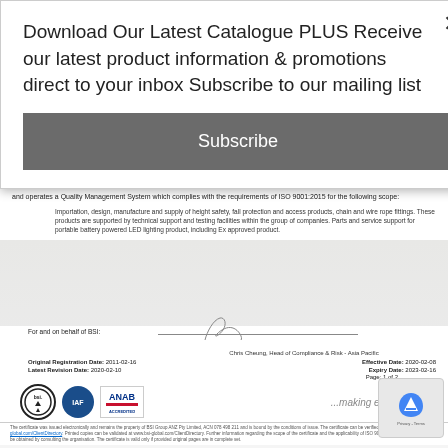Download Our Latest Catalogue PLUS Receive our latest product information & promotions direct to your inbox Subscribe to our mailing list
Subscribe
and operates a Quality Management System which complies with the requirements of ISO 9001:2015 for the following scope:
Importation, design, manufacture and supply of height safety, fall protection and access products, chain and wire rope fittings. These products are supported by technical support and testing facilities within the group of companies. Parts and service support for portable battery powered LED lighting product, including Ex approved product.
For and on behalf of BSI:
Chris Cheung, Head of Compliance & Risk - Asia Pacific
Original Registration Date:  2011-02-16
Latest Revision Date:  2020-02-10
Effective Date:  2020-02-08
Expiry Date:  2023-02-16
Page:  1 of 2
[Figure (logo): BSI, IAF, and ANAB accreditation logos]
...making excellence a h
The certificate was issued electronically and remains the property of BSI Group ANZ Pty Limited, ACN 078 498 211 and is bound by the conditions of issue. The certificate can be verified at www.bsi-global.com/ClientDirectory. Printed copies can be validated at www.bsi-global.com/ClientDirectory. Further information regarding the scope of the certificate and the applicability of ISO 9001:2015 requirements may be obtained by consulting the organisation. The certificate is valid only if provided original pages are in complete set.